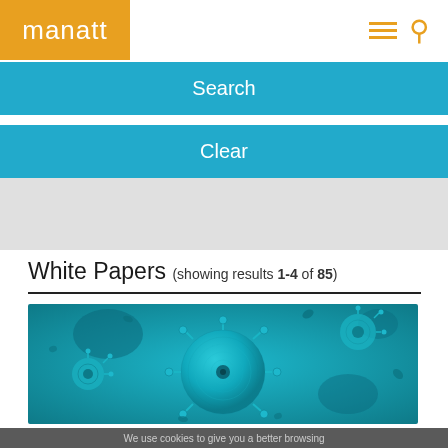manatt
Search
Clear
White Papers (showing results 1-4 of 85)
[Figure (photo): Microscopic image of virus particles on a teal/cyan colored background]
We use cookies to give you a better browsing